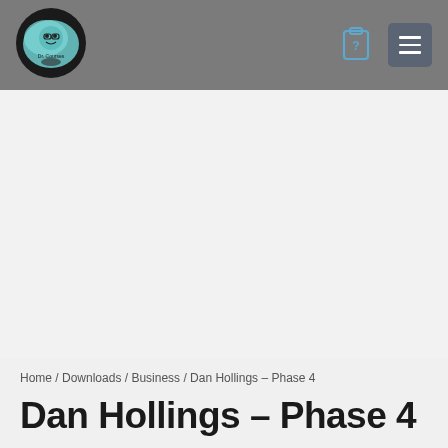[Figure (logo): Dr. Courses circular logo with teal/aqua illustrated face on black background, with navigation icons (clipboard and hamburger menu) in header]
Home / Downloads / Business / Dan Hollings – Phase 4
Dan Hollings – Phase 4